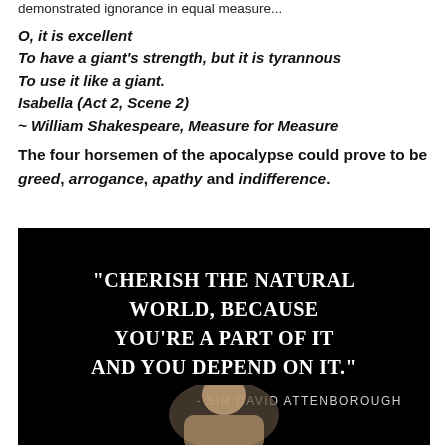demonstrated ignorance in equal measure...
O, it is excellent
To have a giant's strength, but it is tyrannous
To use it like a giant.
Isabella (Act 2, Scene 2)
~ William Shakespeare, Measure for Measure
The four horsemen of the apocalypse could prove to be greed, arrogance, apathy and indifference.
[Figure (photo): Dark background quote image featuring text 'CHERISH THE NATURAL WORLD, BECAUSE YOU'RE A PART OF IT AND YOU DEPEND ON IT.' attributed to SIR DAVID ATTENBOROUGH, with an elderly person's face visible at the bottom.]